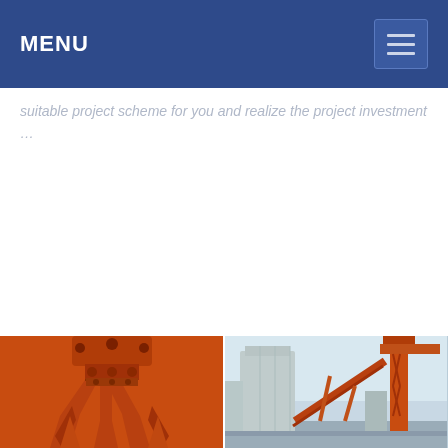MENU
suitable project scheme for you and realize the project investment …
[Figure (photo): Two industrial engineering photos side by side: left image shows orange heavy machinery components (claw/grab bucket detail), right image shows an industrial plant with conveyor belt structure and orange crane against a light sky.]